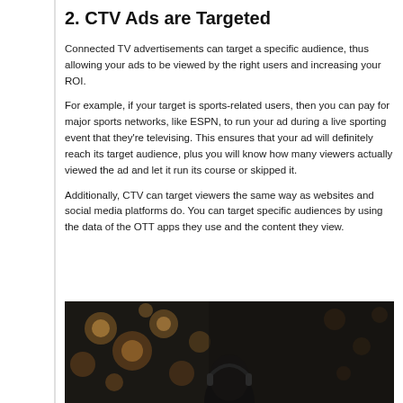2. CTV Ads are Targeted
Connected TV advertisements can target a specific audience, thus allowing your ads to be viewed by the right users and increasing your ROI.
For example, if your target is sports-related users, then you can pay for major sports networks, like ESPN, to run your ad during a live sporting event that they're televising. This ensures that your ad will definitely reach its target audience, plus you will know how many viewers actually viewed the ad and let it run its course or skipped it.
Additionally, CTV can target viewers the same way as websites and social media platforms do. You can target specific audiences by using the data of the OTT apps they use and the content they view.
[Figure (photo): A dark photo showing a person with bokeh light effects in the background, appearing to be in a dimly lit setting with warm orange/golden bokeh circles visible.]